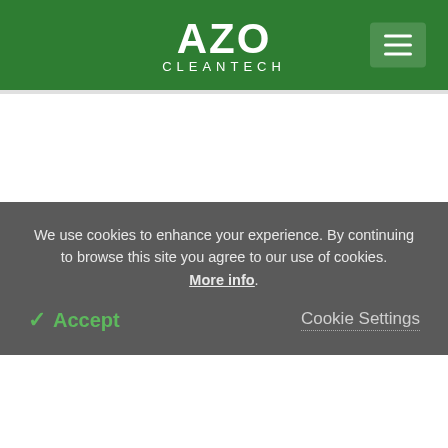AZO CLEANTECH
Posted in | News | Renewable Energy
How Renewable Energy Developments are
We use cookies to enhance your experience. By continuing to browse this site you agree to our use of cookies. More info. Accept  Cookie Settings